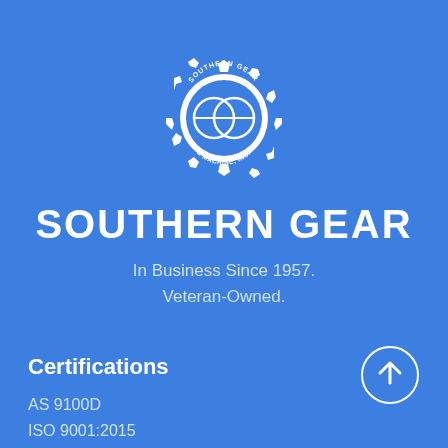[Figure (logo): Southern Gear & Machine, Inc. circular gear logo in white on blue background]
SOUTHERN GEAR
In Business Since 1957.
Veteran-Owned.
Certifications
AS 9100D
ISO 9001:2015